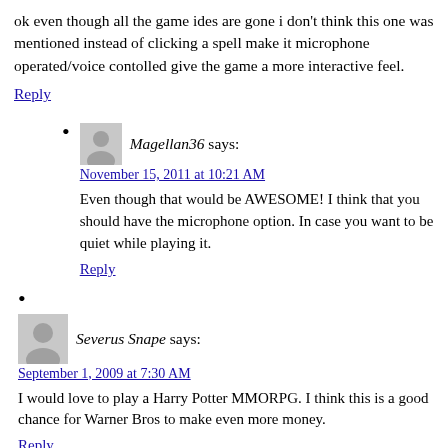ok even though all the game ides are gone i don't think this one was mentioned instead of clicking a spell make it microphone operated/voice contolled give the game a more interactive feel.
Reply
Magellan36 says: November 15, 2011 at 10:21 AM — Even though that would be AWESOME! I think that you should have the microphone option. In case you want to be quiet while playing it. Reply
Severus Snape says: September 1, 2009 at 7:30 AM — I would love to play a Harry Potter MMORPG. I think this is a good chance for Warner Bros to make even more money. Reply